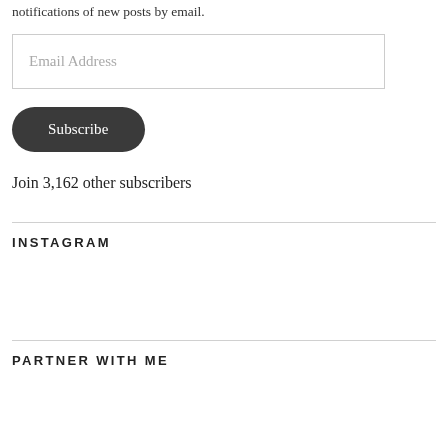notifications of new posts by email.
Email Address
Subscribe
Join 3,162 other subscribers
INSTAGRAM
PARTNER WITH ME